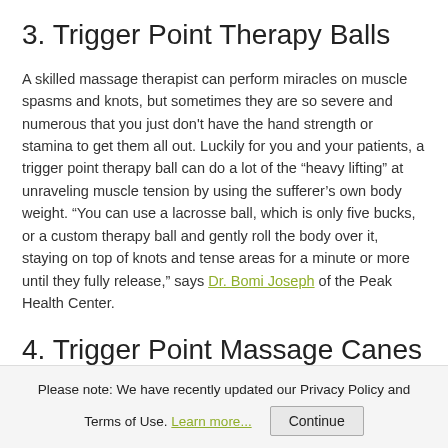3. Trigger Point Therapy Balls
A skilled massage therapist can perform miracles on muscle spasms and knots, but sometimes they are so severe and numerous that you just don't have the hand strength or stamina to get them all out. Luckily for you and your patients, a trigger point therapy ball can do a lot of the “heavy lifting” at unraveling muscle tension by using the sufferer’s own body weight. “You can use a lacrosse ball, which is only five bucks, or a custom therapy ball and gently roll the body over it, staying on top of knots and tense areas for a minute or more until they fully release,” says Dr. Bomi Joseph of the Peak Health Center.
4. Trigger Point Massage Canes
Have you ever wished that you could give pain relief a true, firm backrub? With a trigger point massage cane, you can, and you can do it with great precision and almost as much pressure as you can tolerate. These sturdy, hooked, plastic must-have tools
Please note: We have recently updated our Privacy Policy and Terms of Use. Learn more... Continue